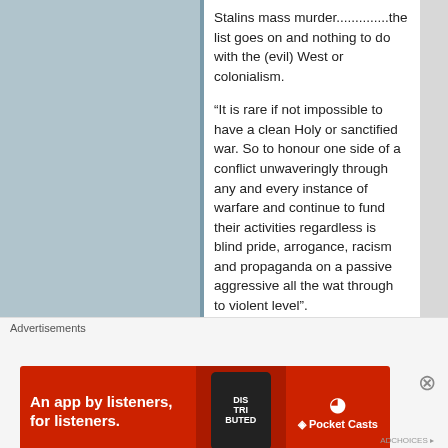Stalins mass murder..............the list goes on and nothing to do with the (evil) West or colonialism.
“It is rare if not impossible to have a clean Holy or sanctified war. So to honour one side of a conflict unwaveringly through any and every instance of warfare and continue to fund their activities regardless is blind pride, arrogance, racism and propaganda on a passive aggressive all the wat through to violent level”.
Advertisements
[Figure (infographic): Red advertisement banner for Pocket Casts app: 'An app by listeners, for listeners.' with Pocket Casts logo and a smartphone visual]